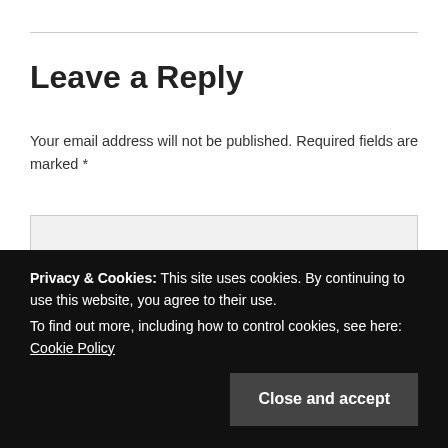Leave a Reply
Your email address will not be published. Required fields are marked *
[Figure (other): Empty comment textarea input field with light gray background]
Privacy & Cookies: This site uses cookies. By continuing to use this website, you agree to their use.
To find out more, including how to control cookies, see here: Cookie Policy
Close and accept